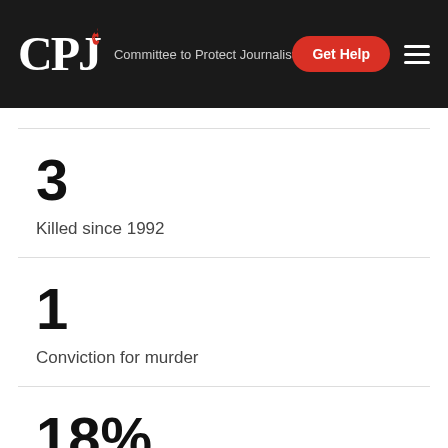CPJ – Committee to Protect Journalists
3
Killed since 1992
1
Conviction for murder
18%
Internet penetration